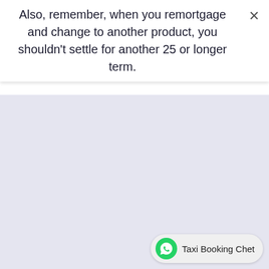Also, remember, when you remortgage and change to another product, you shouldn't settle for another 25 or longer term.
[Figure (screenshot): Light purple/lavender blank content area filling most of the page below the text banner]
Taxi Booking Chet